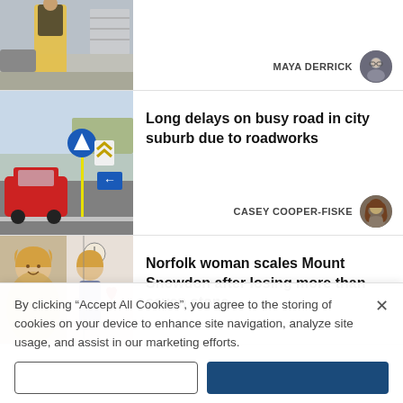[Figure (photo): Woman in yellow dress and black jacket standing outside near barriers and parked cars]
MAYA DERRICK
[Figure (photo): Busy road junction with red car, roadworks signs, and directional arrows on a roundabout]
Long delays on busy road in city suburb due to roadworks
CASEY COOPER-FISKE
[Figure (photo): Before and after photos of a woman who lost weight, smiling with curly blonde hair]
Norfolk woman scales Mount Snowdon after losing more than seven stone
By clicking “Accept All Cookies”, you agree to the storing of cookies on your device to enhance site navigation, analyze site usage, and assist in our marketing efforts.